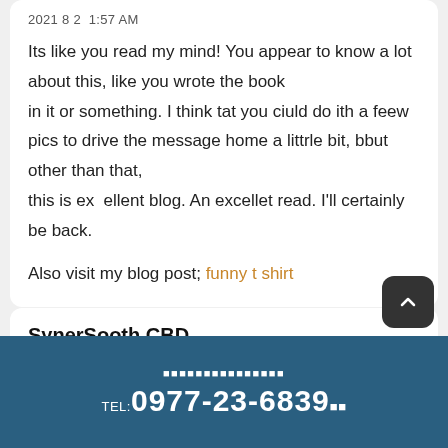2021 8 2  1:57 AM
Its like you read my mind! You appear to know a lot about this, like you wrote the book in it or something. I think tat you ciuld do ith a feew pics to drive the message home a littrle bit, bbut other than that, this is ex  ellent blog. An excellet read. I'll certainly be back.
Also visit my blog post; funny t shirt
SynerSooth CBD
TEL:0977-23-6839